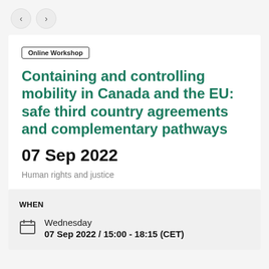< >
Online Workshop
Containing and controlling mobility in Canada and the EU: safe third country agreements and complementary pathways
07 Sep 2022
Human rights and justice
WHEN
Wednesday
07 Sep 2022 / 15:00 - 18:15 (CET)